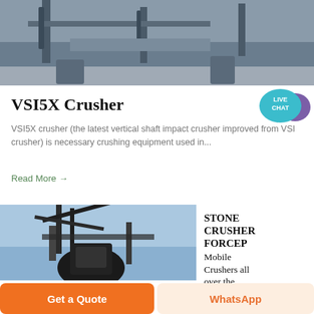[Figure (photo): Top portion of industrial crushing/screening machinery on a factory floor, metallic grey tones]
[Figure (illustration): Live Chat button: teal speech bubble with 'LIVE CHAT' text and purple chat icon]
VSI5X Crusher
VSI5X crusher (the latest vertical shaft impact crusher improved from VSI crusher) is necessary crushing equipment used in...
Read More →
[Figure (photo): Stone crusher industrial equipment photographed from below against a blue sky, dark metal structure]
STONE CRUSHER FORCEP Mobile Crushers all over the
Get a Quote
WhatsApp